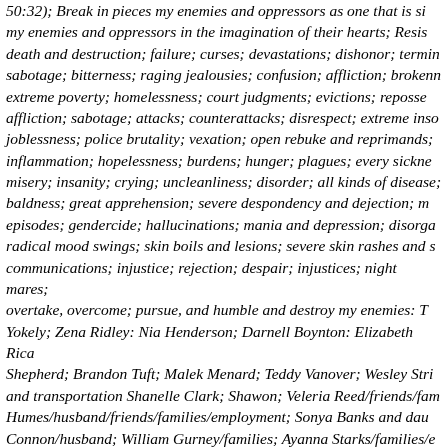50:32); Break in pieces my enemies and oppressors as one that is struck down; Resist my enemies and oppressors in the imagination of their hearts; Resist death and destruction; failure; curses; devastations; dishonor; termination; sabotage; bitterness; raging jealousies; confusion; affliction; brokenness; extreme poverty; homelessness; court judgments; evictions; repossessions; affliction; sabotage; attacks; counterattacks; disrespect; extreme insomnia; joblessness; police brutality; vexation; open rebuke and reprimands; inflammation; hopelessness; burdens; hunger; plagues; every sickness; misery; insanity; crying; uncleanliness; disorder; all kinds of disease; baldness; great apprehension; severe despondency and dejection; manic episodes; gendercide; hallucinations; mania and depression; disorganization; radical mood swings; skin boils and lesions; severe skin rashes and sores; miscommunications; injustice; rejection; despair; injustices; night mares; let it overtake, overcome; pursue, and humble and destroy my enemies: Tiffany Yokely; Zena Ridley: Nia Henderson; Darnell Boynton: Elizabeth Rice: Jayden Shepherd; Brandon Tuft; Malek Menard; Teddy Vanover; Wesley Strickland and transportation Shanelle Clark; Shawon; Veleria Reed/friends/families; Humes/husband/friends/families/employment; Sonya Banks and daughters; Connon/husband; William Gurney/families; Ayanna Starks/families/employment parents/nieces/nephews; Ragerus Hicks' license and employment; Fritzgerald; Rachel Jacobs Ruth Davis; Latonya Shelton; Alisha Cole